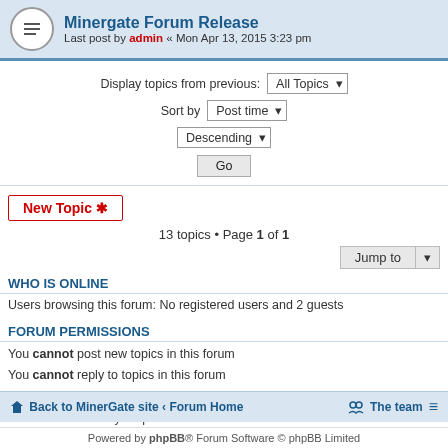Minergate Forum Release — Last post by admin « Mon Apr 13, 2015 3:23 pm
Display topics from previous: All Topics ▾
Sort by Post time ▾
Descending ▾
Go
New Topic *
13 topics • Page 1 of 1
Jump to ▾
WHO IS ONLINE
Users browsing this forum: No registered users and 2 guests
FORUM PERMISSIONS
You cannot post new topics in this forum
You cannot reply to topics in this forum
You cannot edit your posts in this forum
You cannot delete your posts in this forum
You cannot post attachments in this forum
Back to MinerGate site · Forum Home   The team ≡
Powered by phpBB® Forum Software © phpBB Limited